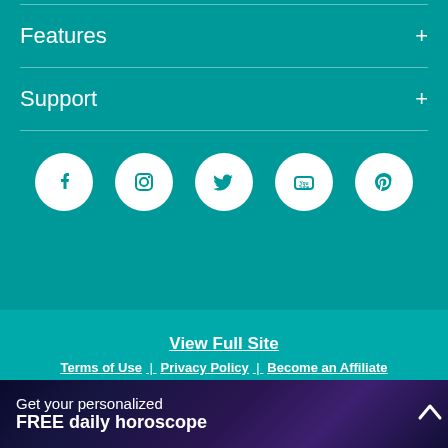Features
Support
[Figure (illustration): Social media icons row: Facebook, Instagram, Twitter, YouTube, Pinterest — white circles on teal background]
View Full Site
Terms of Use | Privacy Policy | Become an Affiliate
Do Not Sell My Personal Information
Get your personalized FREE daily horoscope